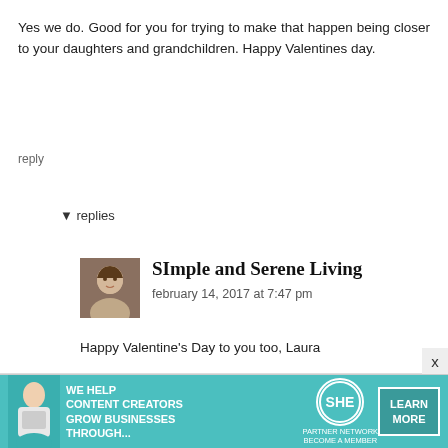Yes we do. Good for you for trying to make that happen being closer to your daughters and grandchildren. Happy Valentines day.
reply
▼ replies
SImple and Serene Living
february 14, 2017 at 7:47 pm
Happy Valentine's Day to you too, Laura
reply
[Figure (infographic): Teal advertisement banner: WE HELP CONTENT CREATORS GROW BUSINESSES THROUGH... with SHE Partner Network logo and LEARN MORE button, with image of a woman on the left]